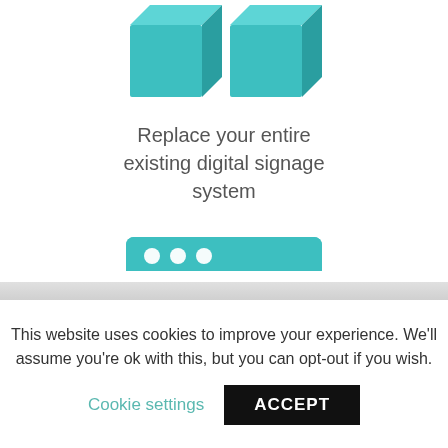[Figure (illustration): Two 3D teal/cyan rectangular box icons (representing digital signage units) shown from an isometric angle, partially cropped at top]
Replace your entire existing digital signage system
[Figure (illustration): Teal icon of a browser/application window with three circles (dots) at the top left, a left panel rectangle, and horizontal stripes on the right side representing a UI layout]
This website uses cookies to improve your experience. We'll assume you're ok with this, but you can opt-out if you wish.
Cookie settings
ACCEPT